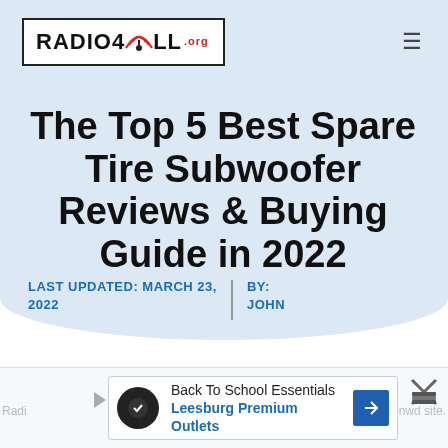RADIO4ALL .org
The Top 5 Best Spare Tire Subwoofer Reviews & Buying Guide in 2022
LAST UPDATED: MARCH 23, 2022  |  BY: JOHN
[Figure (screenshot): Advertisement banner: Back To School Essentials - Leesburg Premium Outlets]